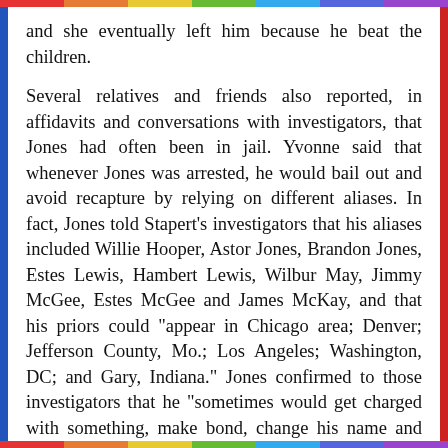and she eventually left him because he beat the children.
Several relatives and friends also reported, in affidavits and conversations with investigators, that Jones had often been in jail. Yvonne said that whenever Jones was arrested, he would bail out and avoid recapture by relying on different aliases. In fact, Jones told Stapert's investigators that his aliases included Willie Hooper, Astor Jones, Brandon Jones, Estes Lewis, Hambert Lewis, Wilbur May, Jimmy McGee, Estes McGee and James McKay, and that his priors could "appear in Chicago area; Denver; Jefferson County, Mo.; Los Angeles; Washington, DC; and Gary, Indiana." Jones confirmed to those investigators that he "sometimes would get charged with something, make bond, change his name and never show up again." Besides his strong arm robbery conviction discussed at sentencing, Jones was also convicted of